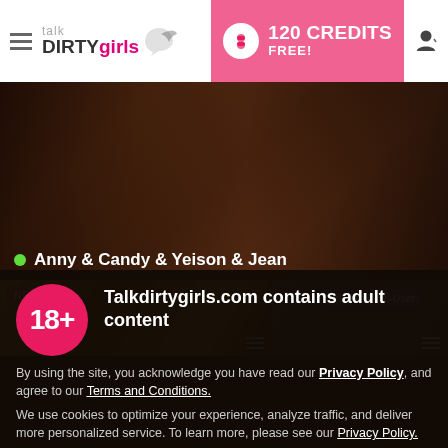talk DIRTY girls | 120 CREDITS FREE!
[Figure (screenshot): Adult webcam site screenshot showing two people on a dark sofa, with user label 'Anny & Candy & Yeison & Jean' and a green online indicator dot]
Anny & Candy & Yeison & Jean
[Figure (screenshot): Two thumbnail previews: left labeled NEW with golden tones, right labeled Private: Multi-User with dark tones]
Talkdirtygirls.com contains adult content
By using the site, you acknowledge you have read our Privacy Policy, and agree to our Terms and Conditions.
We use cookies to optimize your experience, analyze traffic, and deliver more personalized service. To learn more, please see our Privacy Policy.
I AGREE